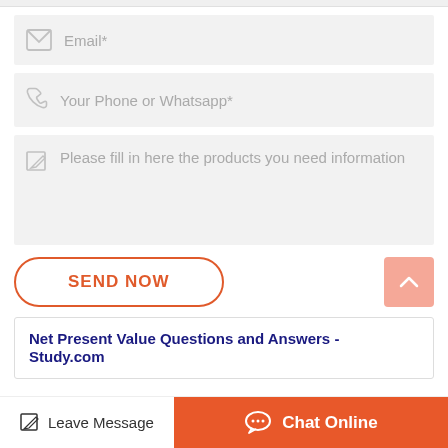[Figure (screenshot): Email input field with envelope icon and placeholder text 'Email*']
[Figure (screenshot): Phone input field with phone icon and placeholder text 'Your Phone or Whatsapp*']
[Figure (screenshot): Textarea field with edit icon and placeholder text 'Please fill in here the products you need information']
[Figure (screenshot): SEND NOW button with orange border and scroll-to-top button]
Net Present Value Questions and Answers - Study.com
[Figure (screenshot): Bottom bar with Leave Message icon and Chat Online orange button]